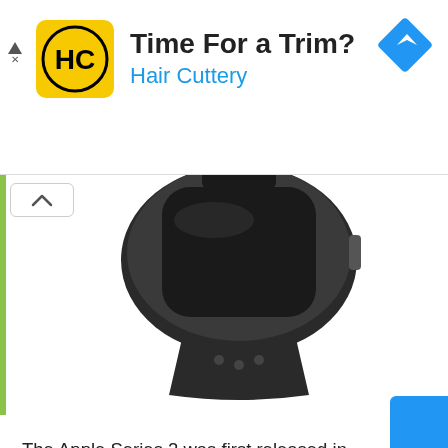[Figure (advertisement): Hair Cuttery ad banner with yellow HC logo, text 'Time For a Trim?' and 'Hair Cuttery', and blue navigation diamond icon on right]
[Figure (photo): Apple Watch Series 2 in dark/black color with sport band, viewed from back/side angle]
The Apple Series 2 was first released in September 2016. This Apple watch will connect to your iPhone thru bluetooth connection for a valuable usage like notifications of calls and messages. Also the watch is able to connect via wi-fi connectivity. Can stored photos and images by up to 2GB and by up to 75MB of your favorite songs. The internal battery can lasts by up to 18 hours and recharged it using